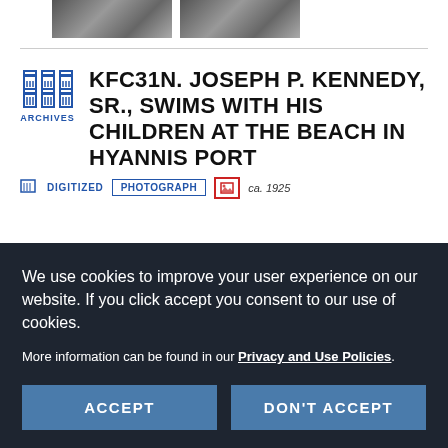[Figure (photo): Two black and white photo thumbnails showing people at a beach]
KFC31N. JOSEPH P. KENNEDY, SR., SWIMS WITH HIS CHILDREN AT THE BEACH IN HYANNIS PORT
DIGITIZED  PHOTOGRAPH  ca. 1925
We use cookies to improve your user experience on our website. If you click accept you consent to our use of cookies.

More information can be found in our Privacy and Use Policies.
ACCEPT    DON'T ACCEPT